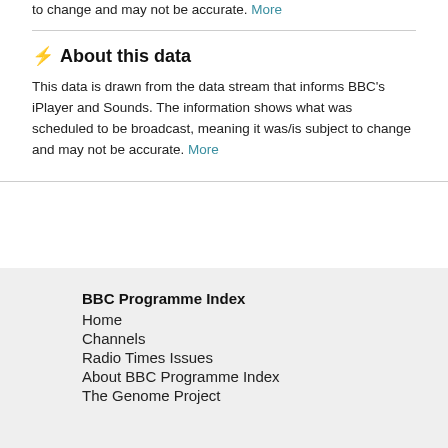to change and may not be accurate. More
About this data
This data is drawn from the data stream that informs BBC's iPlayer and Sounds. The information shows what was scheduled to be broadcast, meaning it was/is subject to change and may not be accurate. More
BBC Programme Index
Home
Channels
Radio Times Issues
About BBC Programme Index
The Genome Project